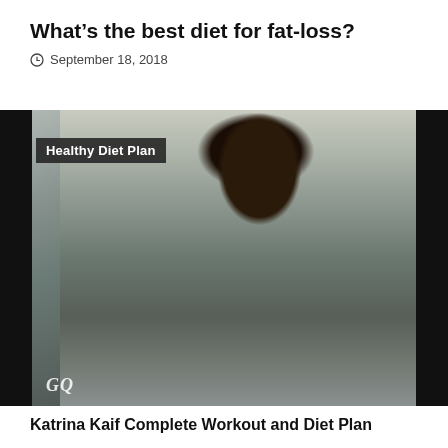What’s the best diet for fat-loss?
September 18, 2018
[Figure (photo): Magazine-style photo of Katrina Kaif in a black blazer outfit seated on a stool, with a palm tree in background. GQ magazine logo visible at bottom left. Overlay text reads 'Healthy Diet Plan'. Black panels on left and right sides.]
Katrina Kaif Complete Workout and Diet Plan